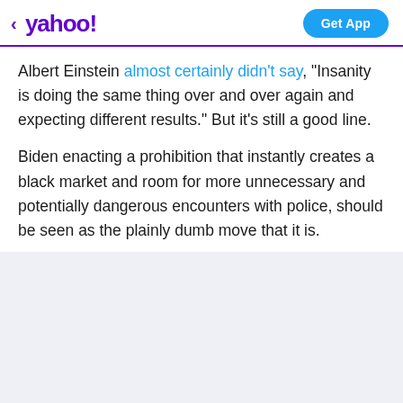< yahoo!  Get App
Albert Einstein almost certainly didn't say, "Insanity is doing the same thing over and over again and expecting different results." But it's still a good line.
Biden enacting a prohibition that instantly creates a black market and room for more unnecessary and potentially dangerous encounters with police, should be seen as the plainly dumb move that it is.
View comments